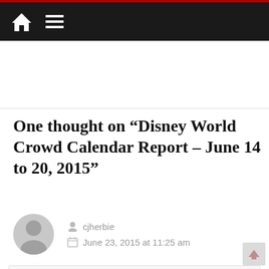Navigation bar with home and menu icons
One thought on “Disney World Crowd Calendar Report – June 14 to 20, 2015”
cjherbie
June 23, 2015 at 11:25 am
I’m wondering how the closure of Pirates of the Caribbean is affecting wait times and the “crowded feeling” at the Magic Kingdom. Does the closure of a large-capacity attraction like Pirates have a significant impact on touring plans? It seems